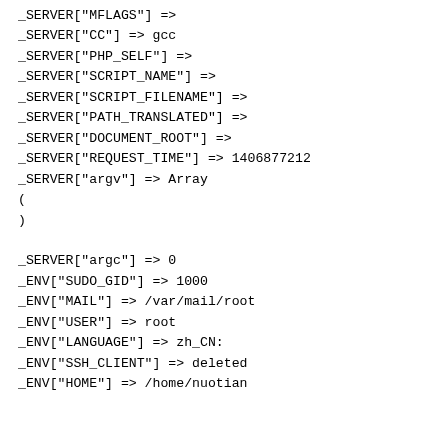_SERVER["MFLAGS"] =>
_SERVER["CC"] => gcc
_SERVER["PHP_SELF"] =>
_SERVER["SCRIPT_NAME"] =>
_SERVER["SCRIPT_FILENAME"] =>
_SERVER["PATH_TRANSLATED"] =>
_SERVER["DOCUMENT_ROOT"] =>
_SERVER["REQUEST_TIME"] => 1406877212
_SERVER["argv"] => Array
(
)

_SERVER["argc"] => 0
_ENV["SUDO_GID"] => 1000
_ENV["MAIL"] => /var/mail/root
_ENV["USER"] => root
_ENV["LANGUAGE"] => zh_CN:
_ENV["SSH_CLIENT"] => deleted
_ENV["HOME"] => /home/nuotian